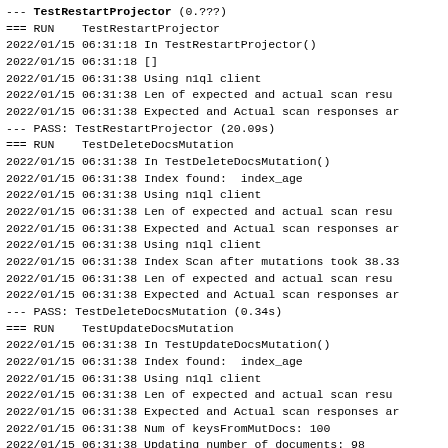--- TestRestartProjector (0.???)
=== RUN    TestRestartProjector
2022/01/15 06:31:18 In TestRestartProjector()
2022/01/15 06:31:18 []
2022/01/15 06:31:38 Using n1ql client
2022/01/15 06:31:38 Len of expected and actual scan resu
2022/01/15 06:31:38 Expected and Actual scan responses ar
--- PASS: TestRestartProjector (20.09s)
=== RUN    TestDeleteDocsMutation
2022/01/15 06:31:38 In TestDeleteDocsMutation()
2022/01/15 06:31:38 Index found:  index_age
2022/01/15 06:31:38 Using n1ql client
2022/01/15 06:31:38 Len of expected and actual scan resu
2022/01/15 06:31:38 Expected and Actual scan responses ar
2022/01/15 06:31:38 Using n1ql client
2022/01/15 06:31:38 Index Scan after mutations took 38.33
2022/01/15 06:31:38 Len of expected and actual scan resu
2022/01/15 06:31:38 Expected and Actual scan responses ar
--- PASS: TestDeleteDocsMutation (0.34s)
=== RUN    TestUpdateDocsMutation
2022/01/15 06:31:38 In TestUpdateDocsMutation()
2022/01/15 06:31:38 Index found:  index_age
2022/01/15 06:31:38 Using n1ql client
2022/01/15 06:31:38 Len of expected and actual scan resu
2022/01/15 06:31:38 Expected and Actual scan responses ar
2022/01/15 06:31:38 Num of keysFromMutDocs: 100
2022/01/15 06:31:38 Updating number of documents: 98
2022/01/15 06:31:38 Using n1ql client
2022/01/15 06:31:39 Index Scan after mutations took 37.94
2022/01/15 06:31:39 Len of expected and actual scan resu
2022/01/15 06:31:39 Expected and Actual scan responses ar